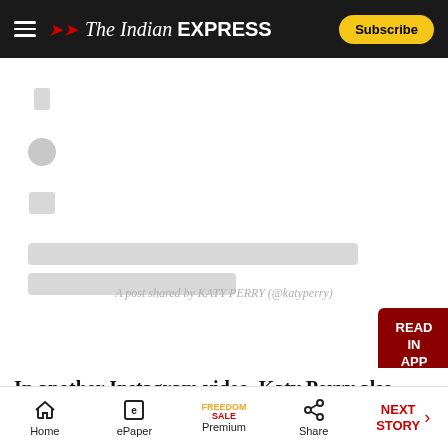The Indian EXPRESS — Subscribe
[Figure (screenshot): Social media embed skeleton with grey placeholder icons and text bars, showing a loading/blurred Instagram embed]
A post shared by KATY PERRY (@katyperry)
In another Instagram video, Katy Perry also gave
Home | ePaper | Premium | Share | NEXT STORY